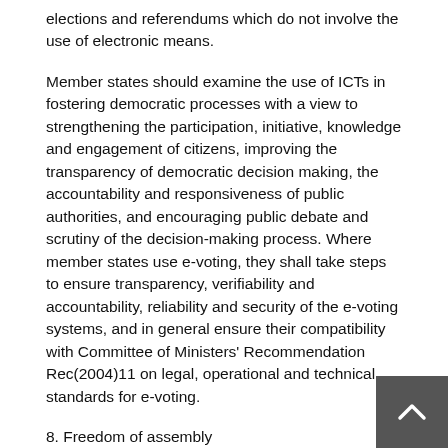elections and referendums which do not involve the use of electronic means.
Member states should examine the use of ICTs in fostering democratic processes with a view to strengthening the participation, initiative, knowledge and engagement of citizens, improving the transparency of democratic decision making, the accountability and responsiveness of public authorities, and encouraging public debate and scrutiny of the decision-making process. Where member states use e-voting, they shall take steps to ensure transparency, verifiability and accountability, reliability and security of the e-voting systems, and in general ensure their compatibility with Committee of Ministers' Recommendation Rec(2004)11 on legal, operational and technical standards for e-voting.
8. Freedom of assembly
ICTs bring an additional dimension to the exercise of freedom of assembly and association, thus extending and enriching ways of enjoying these rights in a digital environment. This has crucial implications for the strengthening of civil society, for participation